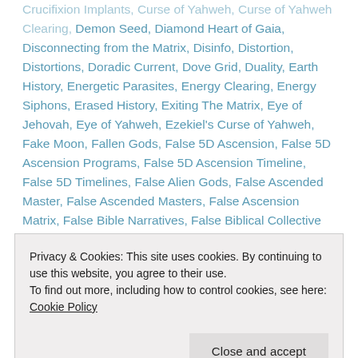Crucifixion Implants, Curse of Yahweh, Curse of Yahweh Clearing, Demon Seed, Diamond Heart of Gaia, Disconnecting from the Matrix, Disinfo, Distortion, Distortions, Doradic Current, Dove Grid, Duality, Earth History, Energetic Parasites, Energy Clearing, Energy Siphons, Erased History, Exiting The Matrix, Eye of Jehovah, Eye of Yahweh, Ezekiel's Curse of Yahweh, Fake Moon, Fallen Gods, False 5D Ascension, False 5D Ascension Programs, False 5D Ascension Timeline, False 5D Timelines, False Alien Gods, False Ascended Master, False Ascended Masters, False Ascension Matrix, False Bible Narratives, False Biblical Collective Consciousness, False Biblical Narratives, False
Privacy & Cookies: This site uses cookies. By continuing to use this website, you agree to their use. To find out more, including how to control cookies, see here: Cookie Policy
Close and accept
Prophecy, False Timelines, False Umbilicas, Four Horsemen,